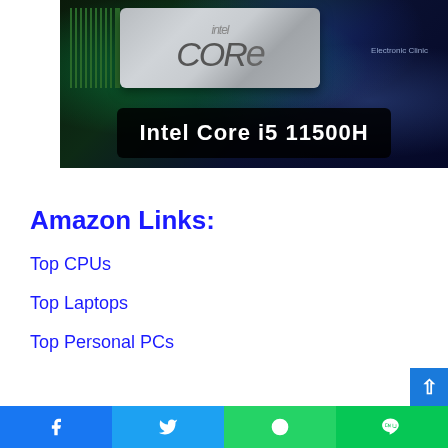[Figure (photo): Intel Core i5 11500H processor image with glowing circuit board background, watermark 'Electronic Clinic', and bold white label overlay reading 'Intel Core i5 11500H']
Amazon Links:
Top CPUs
Top Laptops
Top Personal PCs
[Figure (other): Social sharing bar at bottom with Facebook, Twitter, WhatsApp, and Line icons]